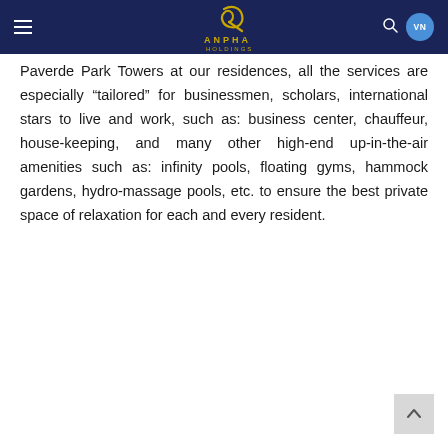ANPHA HOLDINGS [logo header]
Paverde Park Towers at our residences, all the services are especially “tailored” for businessmen, scholars, international stars to live and work, such as: business center, chauffeur, house-keeping, and many other high-end up-in-the-air amenities such as: infinity pools, floating gyms, hammock gardens, hydro-massage pools, etc. to ensure the best private space of relaxation for each and every resident.